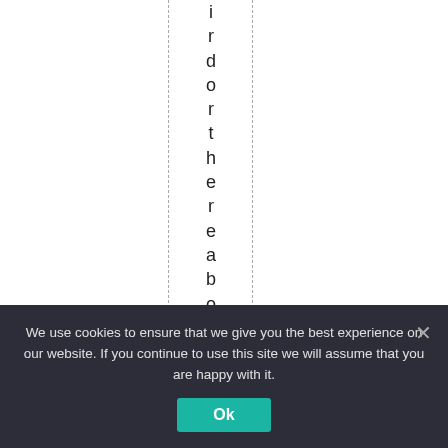irdorthereaboutsof
We use cookies to ensure that we give you the best experience on our website. If you continue to use this site we will assume that you are happy with it.
Ok